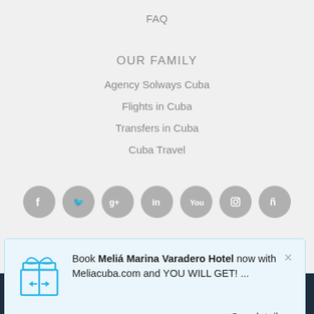FAQ
OUR FAMILY
Agency Solways Cuba
Flights in Cuba
Transfers in Cuba
Cuba Travel
[Figure (other): Social media icons row: Facebook, Twitter, Google+, LinkedIn, YouTube, Instagram, and another icon, all in grey circular buttons]
Book Meliá Marina Varadero Hotel now with Meliacuba.com and YOU WILL GET! ...
See details >
Privacy Policy| Cookies policy
Official Website of Meliá Hotels International SLBA © 2001- 2022